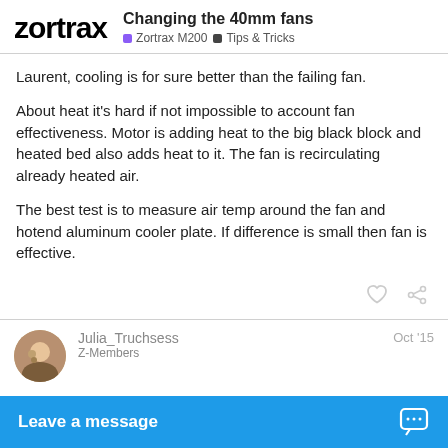Changing the 40mm fans | Zortrax M200 | Tips & Tricks
Laurent, cooling is for sure better than the failing fan.
About heat it's hard if not impossible to account fan effectiveness. Motor is adding heat to the big black block and heated bed also adds heat to it. The fan is recirculating already heated air.
The best test is to measure air temp around the fan and hotend aluminum cooler plate. If difference is small then fan is effective.
Julia_Truchsess Z-Members Oct '15
The thermal connection between the heat sink and the feed tube also seems pretty minimal to me - there is not much metal-to-metal surface contact a… joint in the hope that it mi…
Leave a message